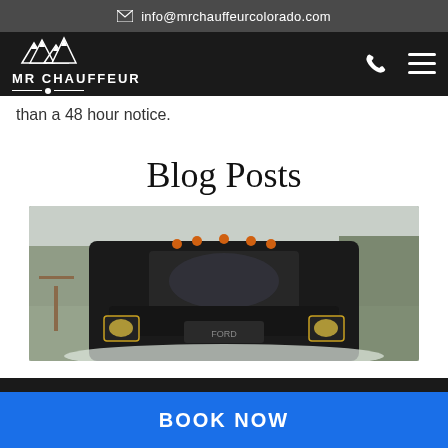info@mrchauffeurcolorado.com
[Figure (logo): MR CHAUFFEUR logo with mountain peaks above text and decorative line divider, white on black background, with phone and hamburger menu icons]
than a 48 hour notice.
Blog Posts
[Figure (photo): Front view of a black Ford Transit van in a snowy mountain setting with pine trees in background]
BOOK NOW